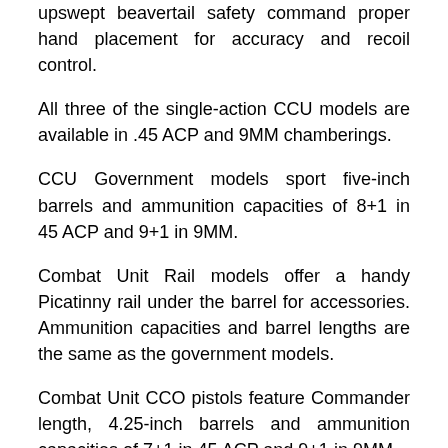upswept beavertail safety command proper hand placement for accuracy and recoil control.
All three of the single-action CCU models are available in .45 ACP and 9MM chamberings.
CCU Government models sport five-inch barrels and ammunition capacities of 8+1 in 45 ACP and 9+1 in 9MM.
Combat Unit Rail models offer a handy Picatinny rail under the barrel for accessories. Ammunition capacities and barrel lengths are the same as the government models.
Combat Unit CCO pistols feature Commander length, 4.25-inch barrels and ammunition capacities of 7+1 in 45 ACP and 9+1 in 9MM.
In addition to the grip safety, all Colt Combat Unit models feature a high-strength double-action frame from...